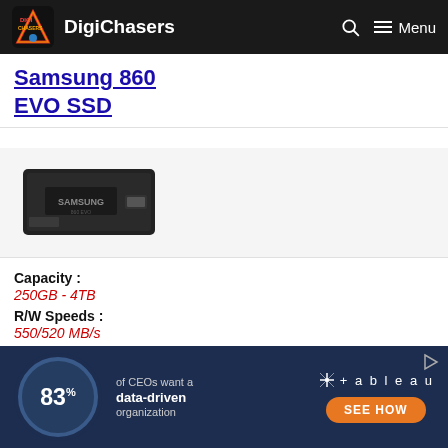DigiChasers
Samsung 860 EVO SSD
[Figure (photo): Samsung 860 EVO SSD product image - black rectangular SSD drive]
Capacity : 250GB - 4TB
R/W Speeds : 550/520 MB/s
Warranty :
[Figure (infographic): Tableau advertisement banner: 83% of CEOs want a data-driven organization. SEE HOW button.]